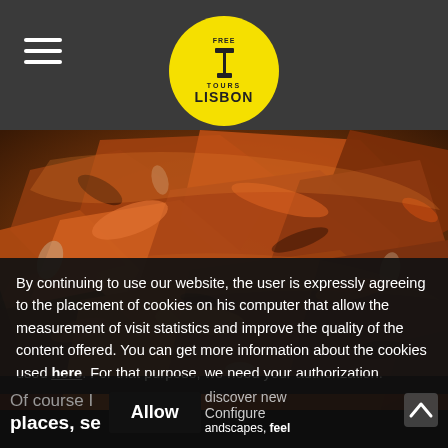Free Tours Lisbon
[Figure (photo): Close-up photo of roasted/grilled meat pieces with golden-brown crispy skin, likely Portuguese roasted suckling pig or similar dish]
By continuing to use our website, the user is expressly agreeing to the placement of cookies on his computer that allow the measurement of visit statistics and improve the quality of the content offered. You can get more information about the cookies used here. For that purpose, we need your authorization.
Of course I discover new places, see landscapes, feel
Allow
Configure